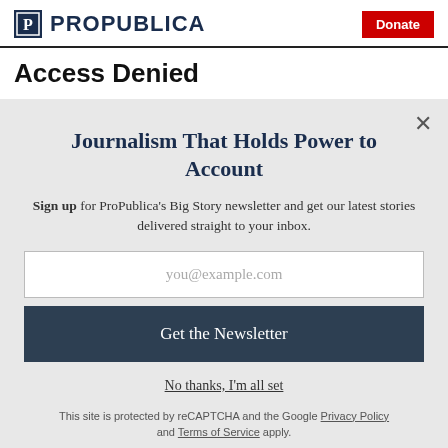ProPublica | Donate
Access Denied
Journalism That Holds Power to Account
Sign up for ProPublica's Big Story newsletter and get our latest stories delivered straight to your inbox.
you@example.com
Get the Newsletter
No thanks, I'm all set
This site is protected by reCAPTCHA and the Google Privacy Policy and Terms of Service apply.